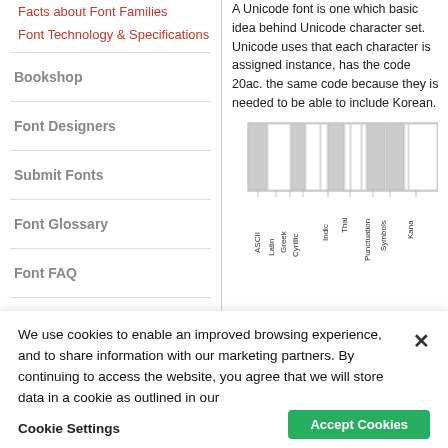Facts about Font Families
Font Technology & Specifications
Bookshop
Font Designers
Submit Fonts
Font Glossary
Font FAQ
A Unicode font is one which basic idea behind Unicode character set. Unicode uses that each character is assigned instance, has the code 20ac. the same code because they is needed to be able to include Korean.
[Figure (bar-chart): Horizontal bar chart showing Unicode character blocks including ASCII, Latin, Greek, Cyrillic, Indic, Thai, Punctuation, Symbols, Kana]
We use cookies to enable an improved browsing experience, and to share information with our marketing partners. By continuing to access the website, you agree that we will store data in a cookie as outlined in our Privacy Policy.
Cookie Settings
Accept Cookies